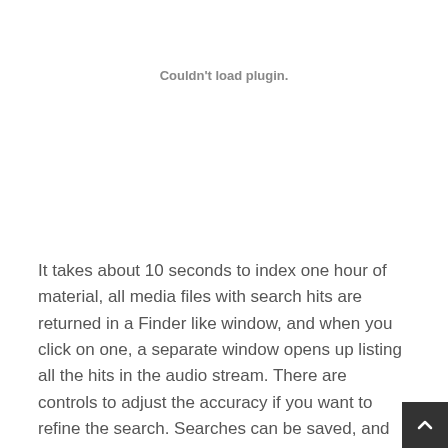Couldn't load plugin.
It takes about 10 seconds to index one hour of material, all media files with search hits are returned in a Finder like window, and when you click on one, a separate window opens up listing all the hits in the audio stream. There are controls to adjust the accuracy if you want to refine the search. Searches can be saved, and when new media arrives in the folder, a message can be sent if the saved search finds any hits. Upon finding the media file